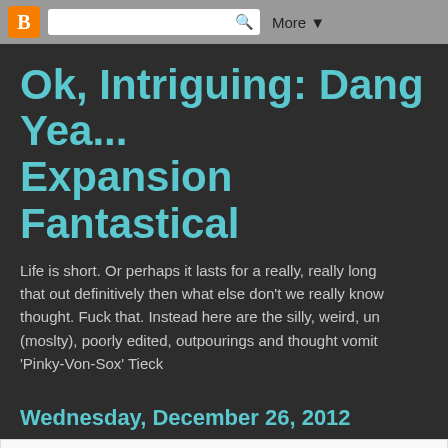Blogger nav bar with logo, search box, and More button
Ok, Intriguing: Dang Yea... Expansion Fantastical
Life is short. Or perhaps it lasts for a really, really long that out definitively then what else don't we really know thought. Fuck that. Instead here are the silly, weird, un (moslty), poorly edited, outpourings and thought vomit 'Pinky-Von-Sox' Tieck
Wednesday, December 26, 2012
Lessons from quotes
'R2D2 more like Right To Do You, am I right?' - guy who says stuff with s enough to actually be sexy